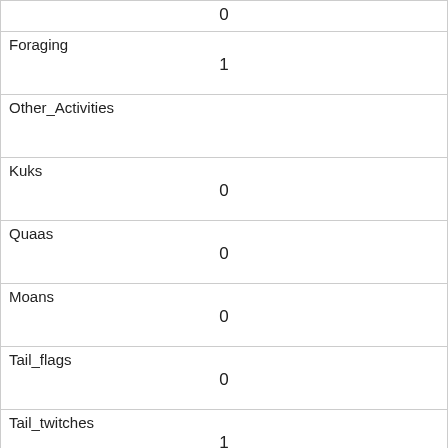|  | 0 |
| Foraging | 1 |
| Other_Activities |  |
| Kuks | 0 |
| Quaas | 0 |
| Moans | 0 |
| Tail_flags | 0 |
| Tail_twitches | 1 |
| Approaches | 0 |
| Indifferent | 0 |
| Runs_from | 0 |